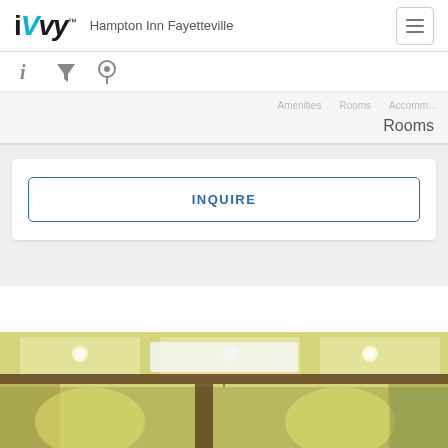iVvy — Hampton Inn Fayetteville
Rooms
INQUIRE
[Figure (photo): Hotel lobby interior with yellow/green walls, decorative ceiling panels with recessed lighting, and a pendant chandelier]